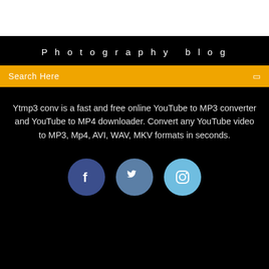Photography blog
Search Here
Ytmp3 conv is a fast and free online YouTube to MP3 converter and YouTube to MP4 downloader. Convert any YouTube video to MP3, Mp4, AVI, WAV, MKV formats in seconds.
[Figure (illustration): Three social media icon circles: Facebook (dark blue), Twitter (medium blue), Instagram (light blue)]